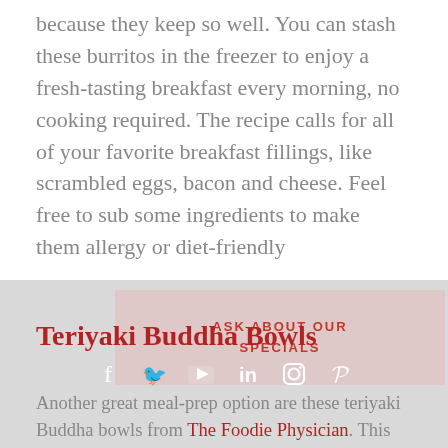because they keep so well. You can stash these burritos in the freezer to enjoy a fresh-tasting breakfast every morning, no cooking required. The recipe calls for all of your favorite breakfast fillings, like scrambled eggs, bacon and cheese. Feel free to sub some ingredients to make them allergy or diet-friendly
[Figure (infographic): Pink semi-transparent overlay box with text 'ASK ABOUT OUR SPECIALS' in red bold uppercase letters]
Teriyaki Buddha Bowls
[Figure (infographic): Social media icons row: Facebook (f), Twitter (bird), YouTube (play), LinkedIn (in), Instagram (camera), Pinterest (p) in white on grey background]
Another great meal-prep option are these teriyaki Buddha bowls from The Foodie Physician. This recipe is chock-full of